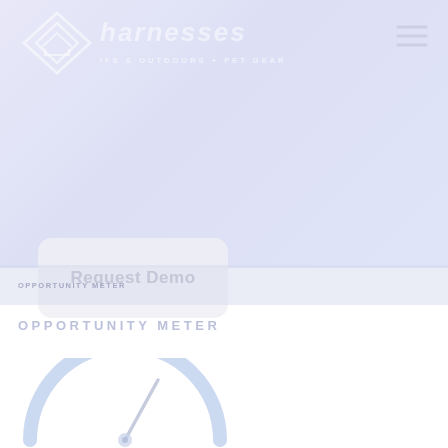[Figure (logo): Diamond/house shaped logo icon with text 'harnesses' and tagline 'IFS & OUTDOORS + PET GEAR' on a light purple gradient background]
[Figure (illustration): Hamburger menu icon (three horizontal lines) in top right corner]
[Figure (illustration): Request Demo button - rounded rectangle with text 'Request Demo']
OPPORTUNITY METER
[Figure (other): Partial gauge/meter dial showing a needle pointing slightly right of center, rendered in light blue tones]